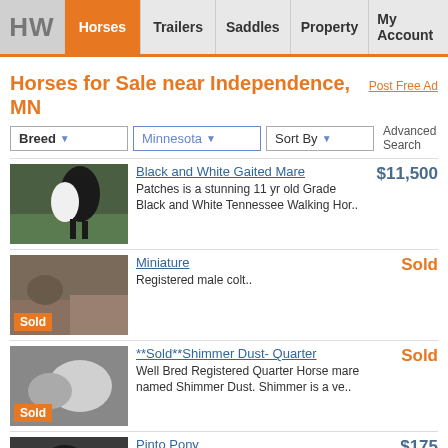HW | Horses | Trailers | Saddles | Property | My Account
Horses for Sale near Independence, MN
Post Free Ad
Breed  Minnesota  Sort By  Advanced Search
Black and White Gaited Mare — Patches is a stunning 11 yr old Grade Black and White Tennessee Walking Hor.. — $11,500
Miniature — Registered male colt.. — Sold
**Sold**Shimmer Dust- Quarter — Well Bred Registered Quarter Horse mare named Shimmer Dust. Shimmer is a ve.. — Sold
Pinto Pony — Tucker is well bred. Handsome black and white pinto with 3 white socks and .. — $175
Pinto Pony — Jackson is the cutest pinto pony! He's blacked and white. 4 white socks, wh.. — $250
APHA — Intermediate rider recommend. brought to two westerns shows, did poles, r.. — $1,200
9YO Appendix Mare — Fergie is a 2008 quarter horse. I am moving to Minneapolis and starting sch. — $1,000